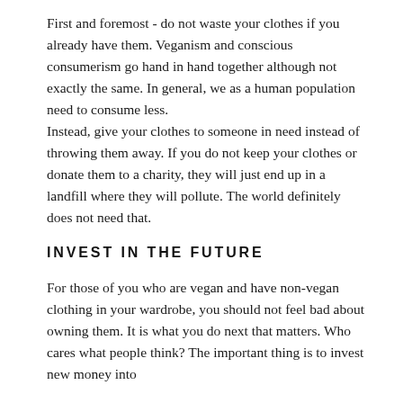First and foremost - do not waste your clothes if you already have them. Veganism and conscious consumerism go hand in hand together although not exactly the same. In general, we as a human population need to consume less.
Instead, give your clothes to someone in need instead of throwing them away. If you do not keep your clothes or donate them to a charity, they will just end up in a landfill where they will pollute. The world definitely does not need that.
INVEST IN THE FUTURE
For those of you who are vegan and have non-vegan clothing in your wardrobe, you should not feel bad about owning them. It is what you do next that matters. Who cares what people think? The important thing is to invest new money into